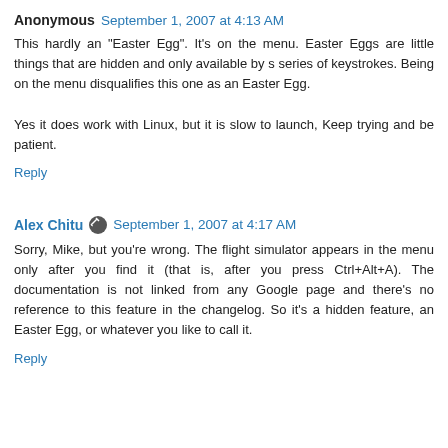Anonymous  September 1, 2007 at 4:13 AM
This hardly an "Easter Egg". It's on the menu. Easter Eggs are little things that are hidden and only available by s series of keystrokes. Being on the menu disqualifies this one as an Easter Egg.

Yes it does work with Linux, but it is slow to launch, Keep trying and be patient.
Reply
Alex Chitu  September 1, 2007 at 4:17 AM
Sorry, Mike, but you're wrong. The flight simulator appears in the menu only after you find it (that is, after you press Ctrl+Alt+A). The documentation is not linked from any Google page and there's no reference to this feature in the changelog. So it's a hidden feature, an Easter Egg, or whatever you like to call it.
Reply